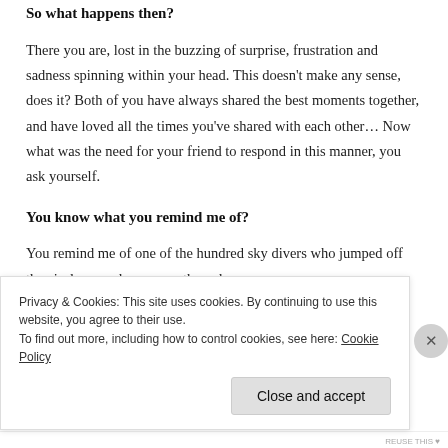So what happens then?
There you are, lost in the buzzing of surprise, frustration and sadness spinning within your head. This doesn’t make any sense, does it? Both of you have always shared the best moments together, and have loved all the times you’ve shared with each other… Now what was the need for your friend to respond in this manner, you ask yourself.
You know what you remind me of?
You remind me of one of the hundred sky divers who jumped off the airplane, and you were the only one
Privacy & Cookies: This site uses cookies. By continuing to use this website, you agree to their use.
To find out more, including how to control cookies, see here: Cookie Policy
REUSE THIS ♥